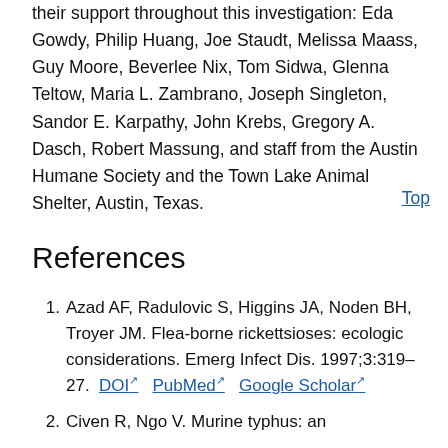their support throughout this investigation: Eda Gowdy, Philip Huang, Joe Staudt, Melissa Maass, Guy Moore, Beverlee Nix, Tom Sidwa, Glenna Teltow, Maria L. Zambrano, Joseph Singleton, Sandor E. Karpathy, John Krebs, Gregory A. Dasch, Robert Massung, and staff from the Austin Humane Society and the Town Lake Animal Shelter, Austin, Texas.
Top
References
Azad AF, Radulovic S, Higgins JA, Noden BH, Troyer JM. Flea-borne rickettsioses: ecologic considerations. Emerg Infect Dis. 1997;3:319–27. DOI PubMed Google Scholar
Civen R, Ngo V. Murine typhus: an